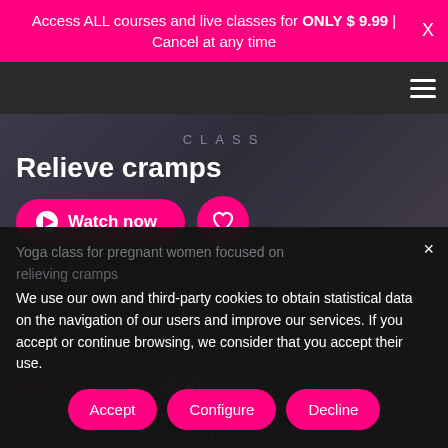Access ALL courses and live classes for ONLY $ 9.99 | Cancel at any time
Relieve cramps
CLASS
Watch now
DESCRIPTION   MORE INFO
Yoga class for pregnant women focused on relieving cramps
We use our own and third-party cookies to obtain statistical data on the navigation of our users and improve our services. If you accept or continue browsing, we consider that you accept their use.
Accept   Configure   Decline
AUDIO AND SUBTITLES